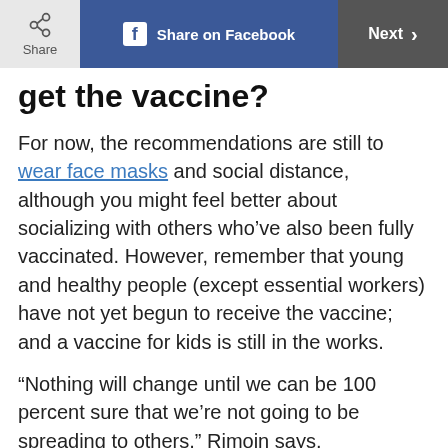Share | Share on Facebook | Next >
get the vaccine?
For now, the recommendations are still to wear face masks and social distance, although you might feel better about socializing with others who’ve also been fully vaccinated. However, remember that young and healthy people (except essential workers) have not yet begun to receive the vaccine; and a vaccine for kids is still in the works.
“Nothing will change until we can be 100 percent sure that we’re not going to be spreading to others,” Rimoin says.